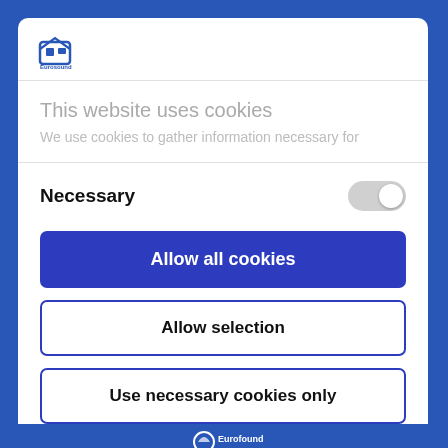[Figure (logo): Eurosound logo with small house/building icon and text]
This website uses cookies
We use cookies to gather information necessary for
Necessary
Allow all cookies
Allow selection
Use necessary cookies only
Powered by Cookiebot by Usercentrics